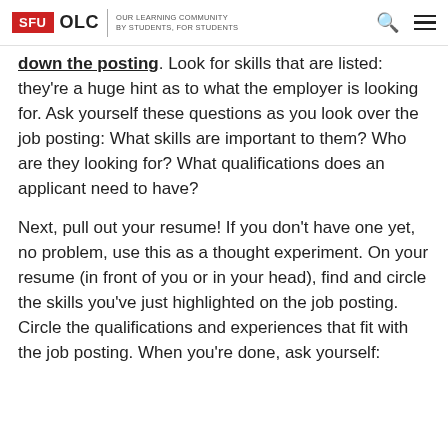SFU OLC | OUR LEARNING COMMUNITY BY STUDENTS, FOR STUDENTS
down the posting. Look for skills that are listed: they're a huge hint as to what the employer is looking for. Ask yourself these questions as you look over the job posting: What skills are important to them? Who are they looking for? What qualifications does an applicant need to have?
Next, pull out your resume! If you don't have one yet, no problem, use this as a thought experiment. On your resume (in front of you or in your head), find and circle the skills you've just highlighted on the job posting. Circle the qualifications and experiences that fit with the job posting. When you're done, ask yourself: